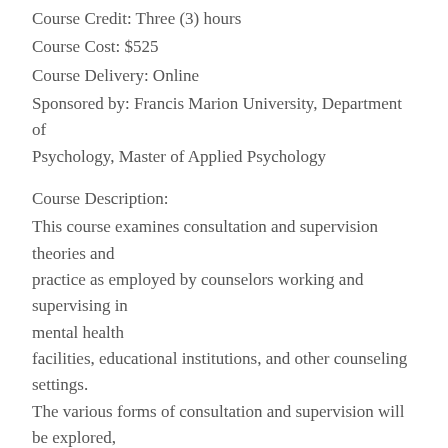Course Credit: Three (3) hours
Course Cost: $525
Course Delivery: Online
Sponsored by: Francis Marion University, Department of Psychology, Master of Applied Psychology
Course Description:
This course examines consultation and supervision theories and practice as employed by counselors working and supervising in mental health facilities, educational institutions, and other counseling settings. The various forms of consultation and supervision will be explored, examining the framework for consultation/supervision with other professionals, educators, families and administrators. The course is designed to meet the criteria established by the SC LLR as part of the requirements to